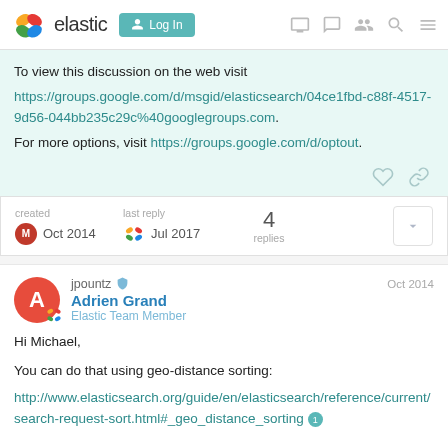elastic | Log In
To view this discussion on the web visit https://groups.google.com/d/msgid/elasticsearch/04ce1fbd-c88f-4517-9d56-044bb235c29c%40googlegroups.com.
For more options, visit https://groups.google.com/d/optout.
created Oct 2014  last reply Jul 2017  4 replies
jpountz  Adrien Grand  Elastic Team Member  Oct 2014
Hi Michael,

You can do that using geo-distance sorting:
http://www.elasticsearch.org/guide/en/elasticsearch/reference/current/search-request-sort.html#_geo_distance_sorting